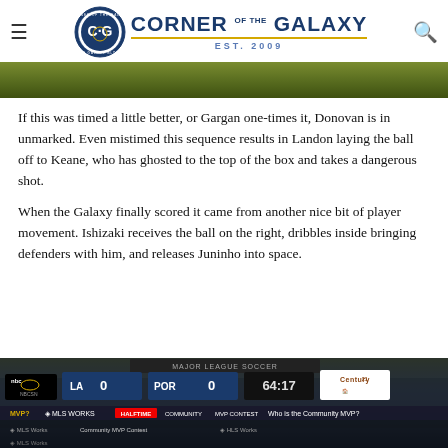Corner of the Galaxy — Est. 2009
[Figure (photo): Green soccer field banner image]
If this was timed a little better, or Gargan one-times it, Donovan is in unmarked. Even mistimed this sequence results in Landon laying the ball off to Keane, who has ghosted to the top of the box and takes a dangerous shot.
When the Galaxy finally scored it came from another nice bit of player movement. Ishizaki receives the ball on the right, dribbles inside bringing defenders with him, and releases Juninho into space.
[Figure (screenshot): TV broadcast screenshot showing Major League Soccer scoreboard: LA 0 POR 0, 64:17, on NBCSN, with Century 21 sponsor logo and MLS Works community MVP contest ticker at bottom]